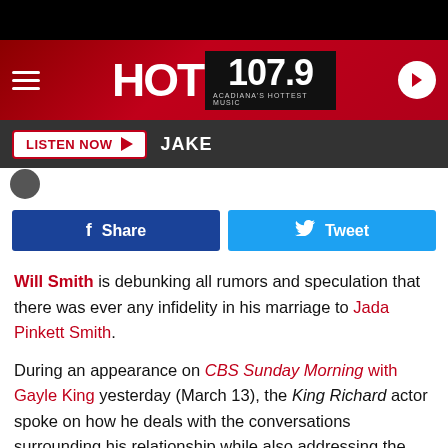[Figure (logo): HOT 107.9 radio station header with hamburger menu, logo, and play button on dark red background]
[Figure (screenshot): Listen Now button and JAKE text on dark grey bar]
[Figure (screenshot): Facebook Share and Twitter Tweet social buttons]
Will Smith is debunking all rumors and speculation that there was ever any infidelity in his marriage to Jada Pinkett Smith.
During an appearance on CBS Sunday Morning with Gayle King yesterday (March 13), the King Richard actor spoke on how he deals with the conversations surrounding his relationship while also addressing the topic of infidelity.
Will shared, "There's never been infidelity in our marriage. Never. Jada and I talk about everything and we have never